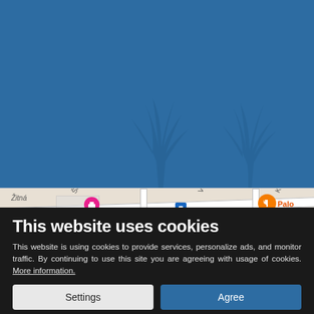[Figure (screenshot): Blue background with palm tree silhouettes overlaid, above a map strip showing street labels including Žitná, Škoroupy, Ve Smečkách, Krakovská, and Palo Verde restaurant marker]
This website uses cookies
This website is using cookies to provide services, personalize ads, and monitor traffic. By continuing to use this site you are agreeing with usage of cookies. More information.